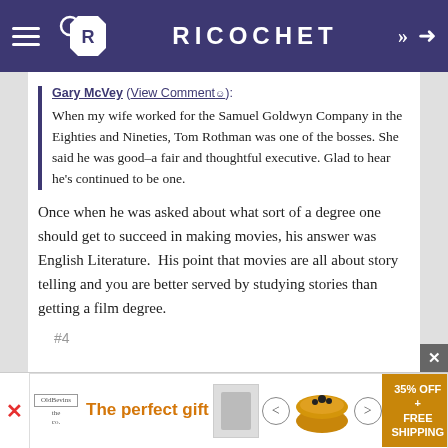RICOCHET
Gary McVey (View Comment): When my wife worked for the Samuel Goldwyn Company in the Eighties and Nineties, Tom Rothman was one of the bosses. She said he was good–a fair and thoughtful executive. Glad to hear he's continued to be one.
Once when he was asked about what sort of a degree one should get to succeed in making movies, his answer was English Literature.  His point that movies are all about story telling and you are better served by studying stories than getting a film degree.
#4
[Figure (other): Advertisement banner: The perfect gift, with product image and 35% OFF + FREE SHIPPING offer]